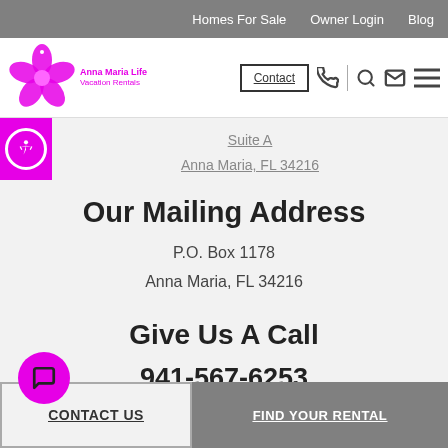Homes For Sale  Owner Login  Blog
[Figure (logo): Island flower/hibiscus logo with text 'Anna Maria Life Vacation Rentals' in pink]
Suite A
Anna Maria, FL 34216
Our Mailing Address
P.O. Box 1178
Anna Maria, FL 34216
Give Us A Call
941-567-6253
CONTACT US
FIND YOUR RENTAL